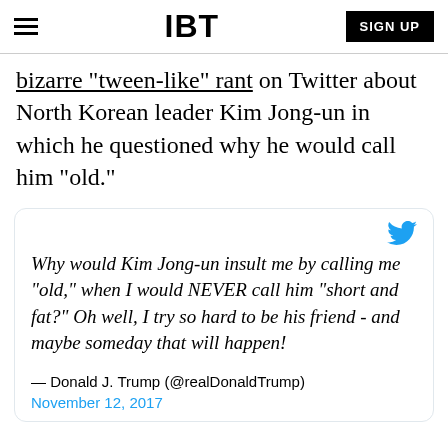IBT | SIGN UP
bizarre "tween-like" rant on Twitter about North Korean leader Kim Jong-un in which he questioned why he would call him "old."
Why would Kim Jong-un insult me by calling me "old," when I would NEVER call him "short and fat?" Oh well, I try so hard to be his friend - and maybe someday that will happen!

— Donald J. Trump (@realDonaldTrump)

November 12, 2017